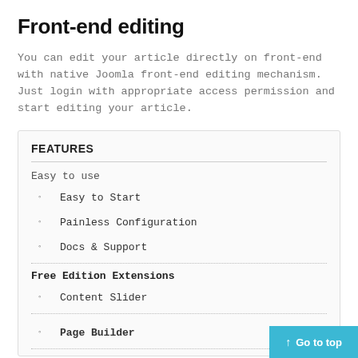Front-end editing
You can edit your article directly on front-end with native Joomla front-end editing mechanism. Just login with appropriate access permission and start editing your article.
FEATURES
Easy to use
Easy to Start
Painless Configuration
Docs & Support
Free Edition Extensions
Content Slider
Page Builder